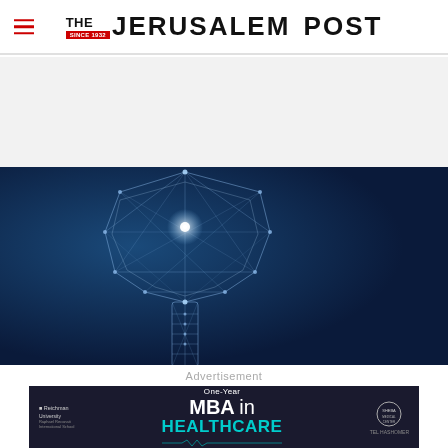THE JERUSALEM POST
[Figure (illustration): Digital wireframe/polygon network illustration of a dental implant (tooth and screw/root) glowing with light connections on a dark blue background]
Advertisement
[Figure (infographic): Advertisement banner for a One-Year MBA in Healthcare from Reichman University Raphael Recanati International School and SHEBA Medical Center, dark navy background with teal/cyan text for HEALTHCARE]